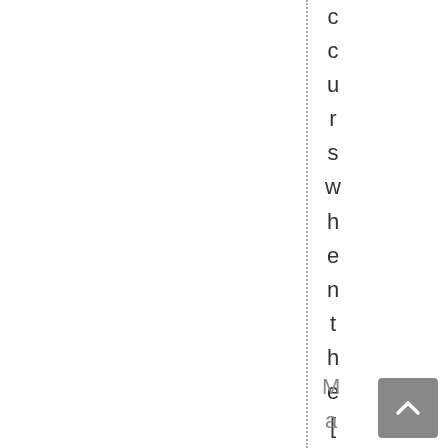ccourswhenthe[…]
May 20th, 202
[Figure (other): Back to top arrow button in gray square]